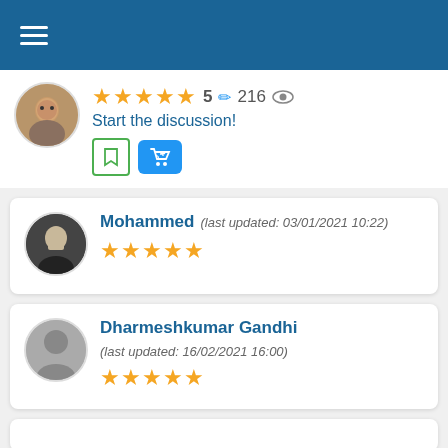Navigation header with hamburger menu
★★★★★ 5 ✏ 216 👁 Start the discussion!
Mohammed (last updated: 03/01/2021 10:22) ★★★★★
Dharmeshkumar Gandhi (last updated: 16/02/2021 16:00) ★★★★★